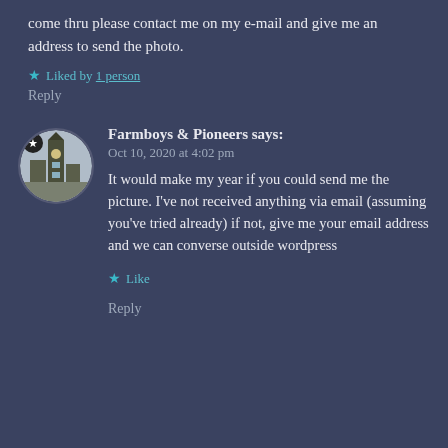come thru please contact me on my e-mail and give me an address to send the photo.
Liked by 1 person
Reply
Farmboys & Pioneers says:
Oct 10, 2020 at 4:02 pm
It would make my year if you could send me the picture. I've not received anything via email (assuming you've tried already) if not, give me your email address and we can converse outside wordpress
Like
Reply